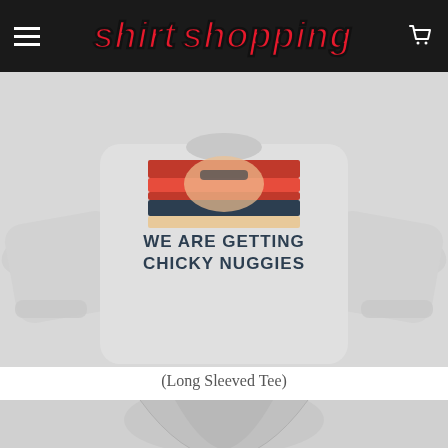shirt shopping
[Figure (photo): White long-sleeved tee shirt with graphic print showing cartoon character face with text 'WE ARE GETTING CHICKY NUGGIES' in vintage style with horizontal color bands]
(Long Sleeved Tee)
[Figure (photo): Partial view of a white hoodie sweatshirt showing the collar and hood area]